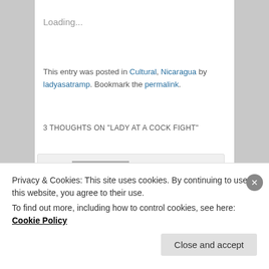Loading...
This entry was posted in Cultural, Nicaragua by ladyasatramp. Bookmark the permalink.
3 THOUGHTS ON "LADY AT A COCK FIGHT"
[Figure (illustration): Generic user avatar placeholder — grey square with white silhouette of a person]
Juliet Jones on July 10, 2013 at 4:16 am said:
Privacy & Cookies: This site uses cookies. By continuing to use this website, you agree to their use.
To find out more, including how to control cookies, see here: Cookie Policy
Close and accept